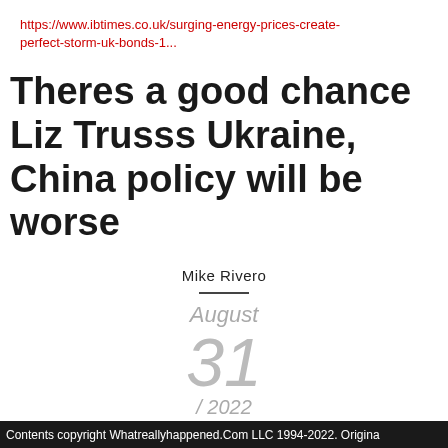https://www.ibtimes.co.uk/surging-energy-prices-create-perfect-storm-uk-bonds-1...
Theres a good chance Liz Trusss Ukraine, China policy will be worse
Mike Rivero
August 31 / 2022
Read more → Log in or register to post comments
Contents copyright Whatreallyhappened.Com LLC 1994-2022. Origina